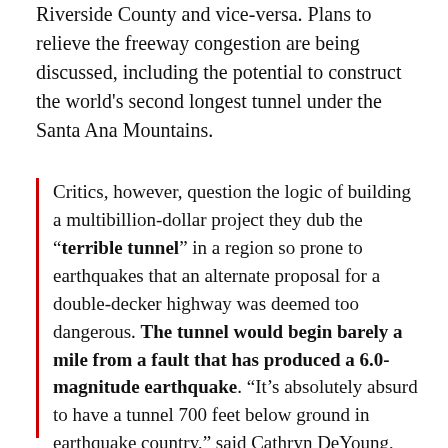Riverside County and vice-versa. Plans to relieve the freeway congestion are being discussed, including the potential to construct the world's second longest tunnel under the Santa Ana Mountains.
Critics, however, question the logic of building a multibillion-dollar project they dub the "terrible tunnel" in a region so prone to earthquakes that an alternate proposal for a double-decker highway was deemed too dangerous. The tunnel would begin barely a mile from a fault that has produced a 6.0-magnitude earthquake. "It's absolutely absurd to have a tunnel 700 feet below ground in earthquake country," said Cathryn DeYoung, mayor of Laguna Niguel and a vocal opponent. "I mean, would you want to be in that tunnel?"